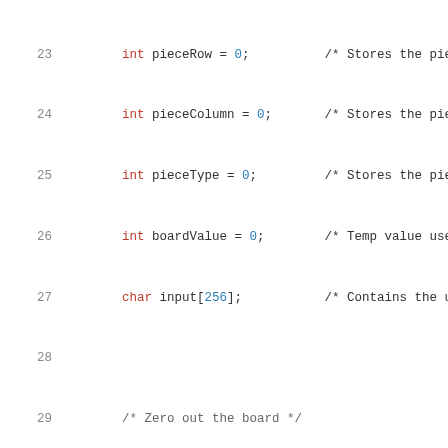[Figure (screenshot): Source code listing in C showing variable declarations and loop initialization, lines 23-43, with syntax highlighting: keywords in red, numbers in blue, comments in gray.]